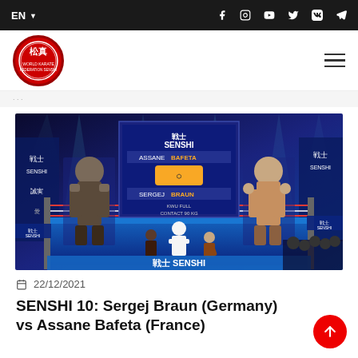EN  |  Social media icons: Facebook, Instagram, YouTube, Twitter, VK, Telegram
[Figure (logo): SENSHI martial arts organization circular logo with red background and Asian characters]
[Figure (photo): SENSHI 10 boxing event photo showing fighters in a ring under blue lighting with SENSHI branding on screens and banners, matchup display showing ASSANE BAFETA vs SERGEJ BRAUN]
22/12/2021
SENSHI 10: Sergej Braun (Germany) vs Assane Bafeta (France)